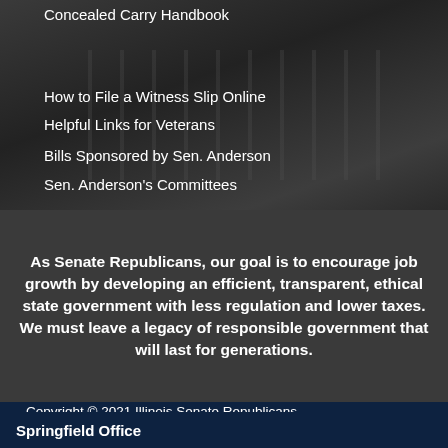Concealed Carry Handbook
How to File a Witness Slip Online
Helpful Links for Veterans
Bills Sponsored by Sen. Anderson
Sen. Anderson's Committees
As Senate Republicans, our goal is to encourage job growth by developing an efficient, transparent, ethical state government with less regulation and lower taxes. We must leave a legacy of responsible government that will last for generations.
Copyright © 2021 Illinois Senate Republicans
Terms of Use    Privacy Policy
Springfield Office